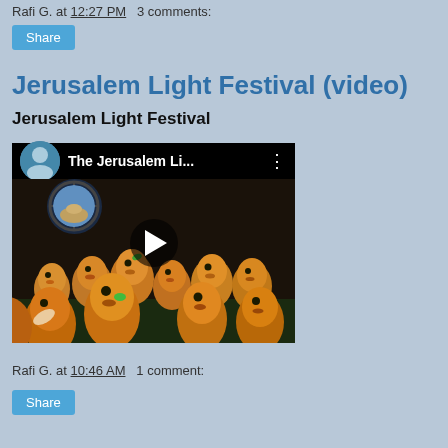Rafi G. at 12:27 PM   3 comments:
Share
Jerusalem Light Festival (video)
Jerusalem Light Festival
[Figure (screenshot): YouTube video thumbnail showing 'The Jerusalem Li...' with animated egg-shaped characters with faces, play button in center]
Rafi G. at 10:46 AM   1 comment:
Share